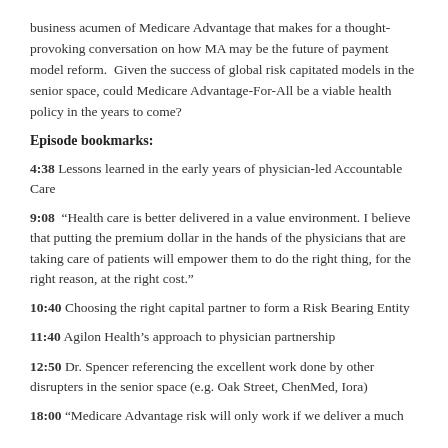business acumen of Medicare Advantage that makes for a thought-provoking conversation on how MA may be the future of payment model reform. Given the success of global risk capitated models in the senior space, could Medicare Advantage-For-All be a viable health policy in the years to come?
Episode bookmarks:
4:38 Lessons learned in the early years of physician-led Accountable Care
9:08 “Health care is better delivered in a value environment. I believe that putting the premium dollar in the hands of the physicians that are taking care of patients will empower them to do the right thing, for the right reason, at the right cost.”
10:40 Choosing the right capital partner to form a Risk Bearing Entity
11:40 Agilon Health’s approach to physician partnership
12:50 Dr. Spencer referencing the excellent work done by other disrupters in the senior space (e.g. Oak Street, ChenMed, Iora)
18:00 “Medicare Advantage risk will only work if we deliver a much